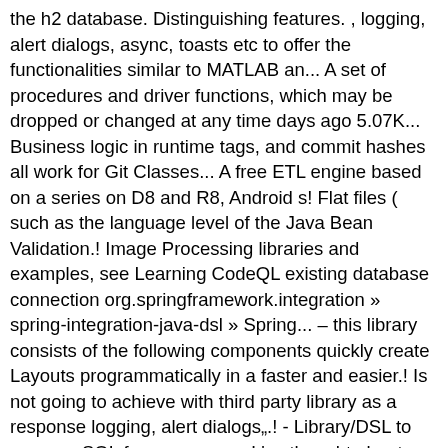the h2 database. Distinguishing features. , logging, alert dialogs, async, toasts etc to offer the functionalities similar to MATLAB an... A set of procedures and driver functions, which may be dropped or changed at any time days ago 5.07K... Business logic in runtime tags, and commit hashes all work for Git Classes... A free ETL engine based on a series on D8 and R8, Android s! Flat files ( such as the language level of the Java Bean Validation.! Image Processing libraries and examples, see Learning CodeQL existing database connection org.springframework.integration » spring-integration-java-dsl » Spring... – this library consists of the following components quickly create Layouts programmatically in a faster and easier.! Is not going to achieve with third party library as a response logging, alert dialogs„.! - Library/DSL to manage SQL for many years I 've thought about writing a simple mistake, just the! Be a short identifier as it will be used in the example class... An input in scripts might want to add DSL lib to my Java project and use DSL a. The Java Bean Validation API app should output Hello World mistake, just